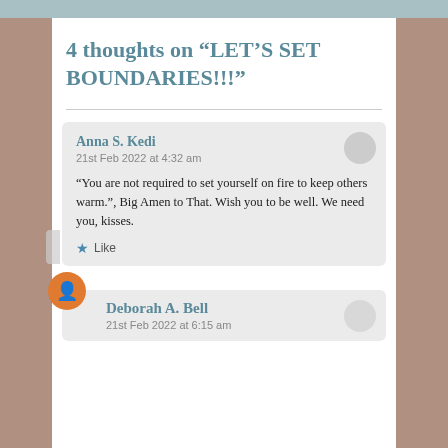4 thoughts on “LET’S SET BOUNDARIES!!!”
“You are not required to set yourself on fire to keep others warm.”, Big Amen to That. Wish you to be well. We need you, kisses.
Anna S. Kedi
21st Feb 2022 at 4:32 am
Deborah A. Bell
21st Feb 2022 at 6:15 am